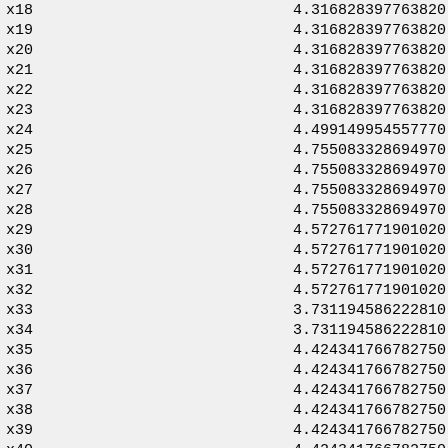| variable | value |
| --- | --- |
| x18 | 4.316828397763820 |
| x19 | 4.316828397763820 |
| x20 | 4.316828397763820 |
| x21 | 4.316828397763820 |
| x22 | 4.316828397763820 |
| x23 | 4.316828397763820 |
| x24 | 4.499149954557770 |
| x25 | 4.755083328694970 |
| x26 | 4.755083328694970 |
| x27 | 4.755083328694970 |
| x28 | 4.755083328694970 |
| x29 | 4.572761771901020 |
| x30 | 4.572761771901020 |
| x31 | 4.572761771901020 |
| x32 | 4.572761771901020 |
| x33 | 3.731194586222810 |
| x34 | 3.731194586222810 |
| x35 | 4.424341766782750 |
| x36 | 4.424341766782750 |
| x37 | 4.424341766782750 |
| x38 | 4.424341766782750 |
| x39 | 4.424341766782750 |
| x40 | 4.424341766782750 |
| objvar | 187277.259422014001757 |